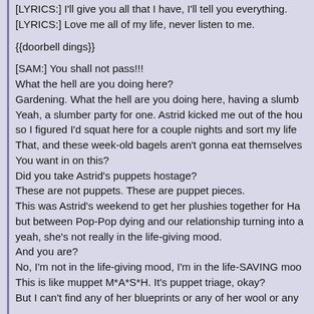[LYRICS:] I'll give you all that I have, I'll tell you everything.
[LYRICS:] Love me all of my life, never listen to me.
{{doorbell dings}}
[SAM:] You shall not pass!!!
What the hell are you doing here?
Gardening. What the hell are you doing here, having a slumb
Yeah, a slumber party for one. Astrid kicked me out of the hou
so I figured I'd squat here for a couple nights and sort my life
That, and these week-old bagels aren't gonna eat themselves
You want in on this?
Did you take Astrid's puppets hostage?
These are not puppets. These are puppet pieces.
This was Astrid's weekend to get her plushies together for Ha
but between Pop-Pop dying and our relationship turning into a
yeah, she's not really in the life-giving mood.
And you are?
No, I'm not in the life-giving mood, I'm in the life-SAVING moo
This is like muppet M*A*S*H. It's puppet triage, okay?
But I can't find any of her blueprints or any of her wool or any